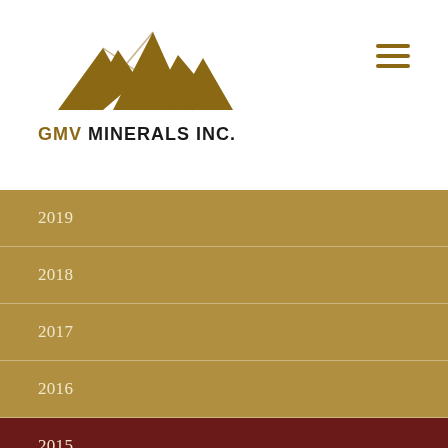[Figure (logo): GMV Minerals Inc. logo with mountain peak SVG illustration above the company name text]
2019
2018
2017
2016
2015
2014